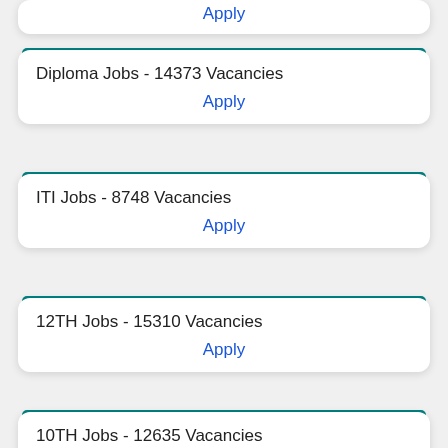Apply
Diploma Jobs - 14373 Vacancies
Apply
ITI Jobs - 8748 Vacancies
Apply
12TH Jobs - 15310 Vacancies
Apply
10TH Jobs - 12635 Vacancies
Apply